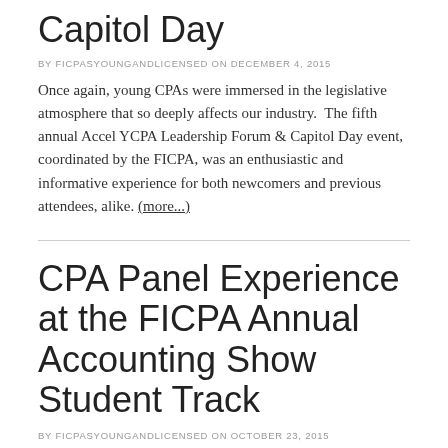Capitol Day
BY FICPASYOUNGANDLICENSED ON DECEMBER 4, 2015
Once again, young CPAs were immersed in the legislative atmosphere that so deeply affects our industry.  The fifth annual Accel YCPA Leadership Forum & Capitol Day event, coordinated by the FICPA, was an enthusiastic and informative experience for both newcomers and previous attendees, alike. (more...)
CPA Panel Experience at the FICPA Annual Accounting Show Student Track
BY FICPASYOUNGANDLICENSED ON OCTOBER 23, 2015